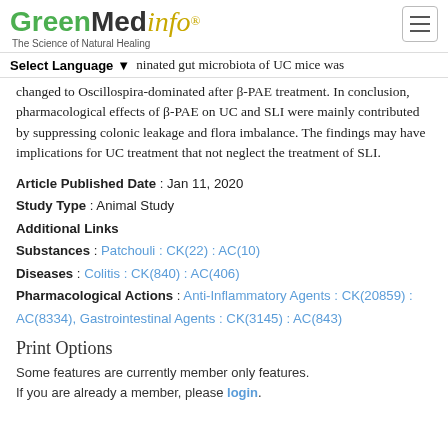GreenMedinfo® — The Science of Natural Healing
ninated gut microbiota of UC mice was changed to Oscillospira-dominated after β-PAE treatment. In conclusion, pharmacological effects of β-PAE on UC and SLI were mainly contributed by suppressing colonic leakage and flora imbalance. The findings may have implications for UC treatment that not neglect the treatment of SLI.
Article Published Date : Jan 11, 2020
Study Type : Animal Study
Additional Links
Substances : Patchouli : CK(22) : AC(10)
Diseases : Colitis : CK(840) : AC(406)
Pharmacological Actions : Anti-Inflammatory Agents : CK(20859) : AC(8334), Gastrointestinal Agents : CK(3145) : AC(843)
Print Options
Some features are currently member only features. If you are already a member, please login.